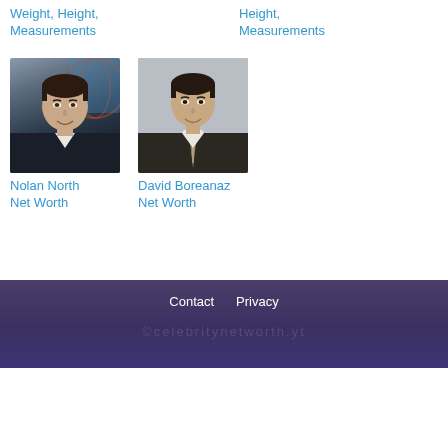Weight, Height, Measurements
Height, Measurements
[Figure (photo): Headshot of Nolan North, a man in a dark suit with short dark hair, smiling, with a globe/world background]
Nolan North Net Worth
[Figure (photo): Headshot of David Boreanaz, a man in a dark suit with a striped tie, short dark hair, smiling, against a light gray background]
David Boreanaz Net Worth
Contact  Privacy